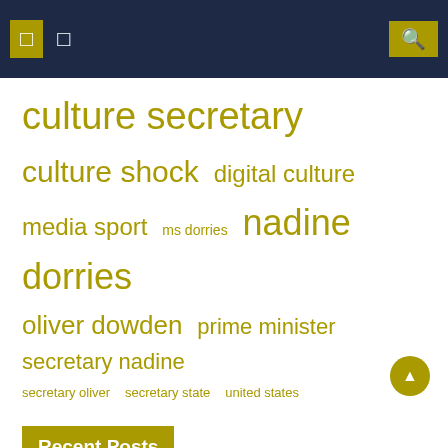navigation header with icons
culture secretary
culture shock  digital culture
media sport  ms dorries  nadine dorries
oliver dowden  prime minister  secretary nadine
secretary oliver  secretary state  united states
Recent Posts
Pros and Cons of The Credit Culture
Fake tweet about dogs wrongly attributed to UK culture secretary
Liz Truss is Invoking Culture Secretary Nadine Dorries to keep herself if...